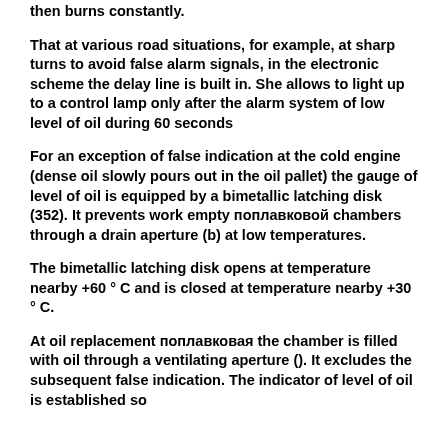then burns constantly.
That at various road situations, for example, at sharp turns to avoid false alarm signals, in the electronic scheme the delay line is built in. She allows to light up to a control lamp only after the alarm system of low level of oil during 60 seconds
For an exception of false indication at the cold engine (dense oil slowly pours out in the oil pallet) the gauge of level of oil is equipped by a bimetallic latching disk (352). It prevents work empty поплавковой chambers through a drain aperture (b) at low temperatures.
The bimetallic latching disk opens at temperature nearby +60 ° C and is closed at temperature nearby +30 ° C.
At oil replacement поплавковая the chamber is filled with oil through a ventilating aperture (). It excludes the subsequent false indication. The indicator of level of oil is established so